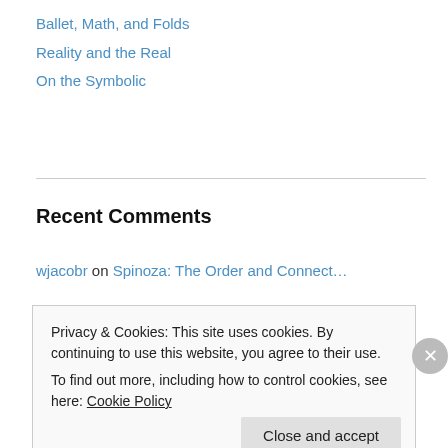Ballet, Math, and Folds
Reality and the Real
On the Symbolic
Recent Comments
wjacobr on Spinoza: The Order and Connect…
larvalsubjects on Spinoza: The Order and Connect…
bV on Spinoza: The Order and Connect…
Privacy & Cookies: This site uses cookies. By continuing to use this website, you agree to their use.
To find out more, including how to control cookies, see here: Cookie Policy
Close and accept